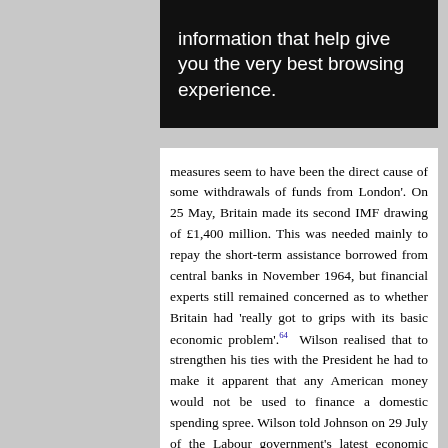[Figure (screenshot): Black banner/overlay UI element with white text reading: 'information that help give you the very best browsing experience.']
measures seem to have been the direct cause of some withdrawals of funds from London'. On 25 May, Britain made its second IMF drawing of £1,400 million. This was needed mainly to repay the short-term assistance borrowed from central banks in November 1964, but financial experts still remained concerned as to whether Britain had 'really got to grips with its basic economic problem'.64 Wilson realised that to strengthen his ties with the President he had to make it apparent that any American money would not be used to finance a domestic spending spree. Wilson told Johnson on 29 July of the Labour government's latest economic measures, announced two days